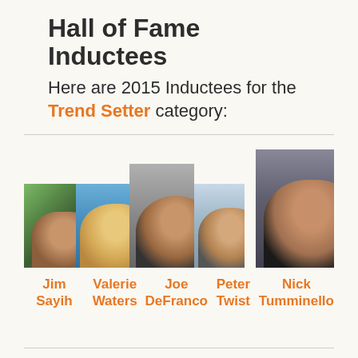Hall of Fame Inductees
Here are 2015 Inductees for the Trend Setter category:
[Figure (photo): Five photos of Hall of Fame inductees: Jim Sayih, Valerie Waters, Joe DeFranco, Peter Twist, and Nick Tumminello arranged in a row]
Jim Sayih   Valerie Waters   Joe DeFranco   Peter Twist   Nick Tumminello